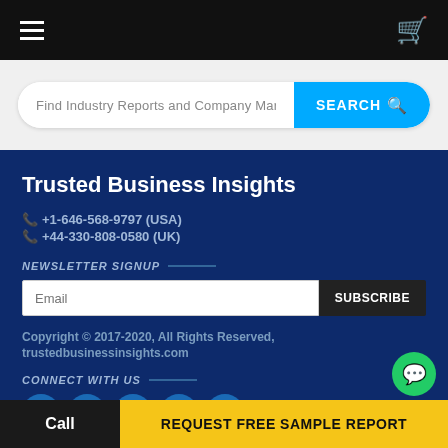Navigation bar with hamburger menu and cart icon
Find Industry Reports and Company Marke
SEARCH
Trusted Business Insights
+1-646-568-9797 (USA)
+44-330-808-0580 (UK)
NEWSLETTER SIGNUP
Email
SUBSCRIBE
Copyright © 2017-2020, All Rights Reserved, trustedbusinessinsights.com
CONNECT WITH US
Call | REQUEST FREE SAMPLE REPORT